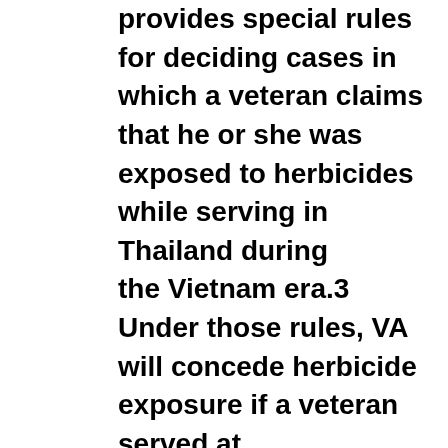provides special rules for deciding cases in which a veteran claims that he or she was exposed to herbicides while serving in Thailand during the Vietnam era.3 Under those rules, VA will concede herbicide exposure if a veteran served at one of seven Royal Thai Air Force Bases (RTAFB) (U-Tapao, Ubon, Nakhon Phanom, Udom, Takhli, Korat, or Don